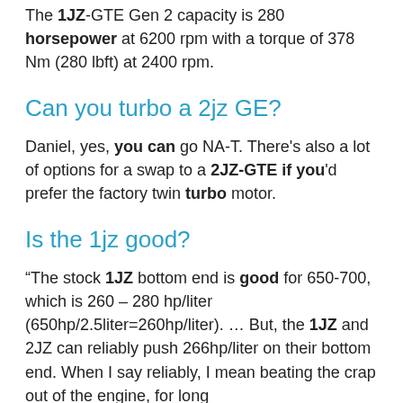The 1JZ-GTE Gen 2 capacity is 280 horsepower at 6200 rpm with a torque of 378 Nm (280 lbft) at 2400 rpm.
Can you turbo a 2jz GE?
Daniel, yes, you can go NA-T. There's also a lot of options for a swap to a 2JZ-GTE if you'd prefer the factory twin turbo motor.
Is the 1jz good?
“The stock 1JZ bottom end is good for 650-700, which is 260 – 280 hp/liter (650hp/2.5liter=260hp/liter). … But, the 1JZ and 2JZ can reliably push 266hp/liter on their bottom end. When I say reliably, I mean beating the crap out of the engine, for long